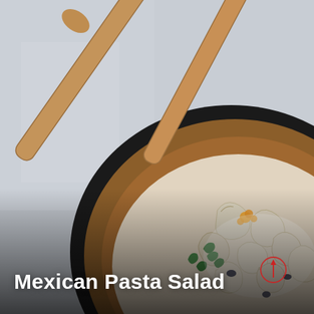[Figure (photo): Close-up overhead photo of a wooden bowl filled with Mexican pasta salad — large ruffled pasta shells coated in a creamy white dressing, mixed with black beans, corn kernels, and fresh cilantro leaves. Two wooden serving spoons cross diagonally in the bowl. The background is a light grey marble surface. A small red circle with an upward arrow is visible near the bottom-right of the bowl.]
Mexican Pasta Salad